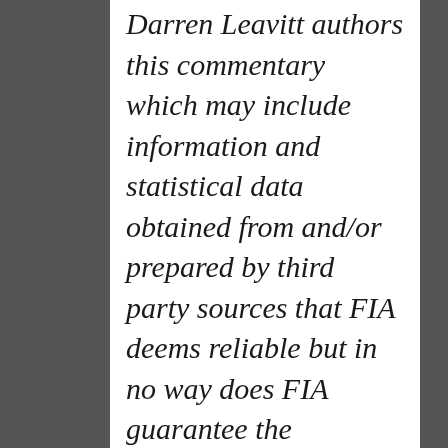Darren Leavitt authors this commentary which may include information and statistical data obtained from and/or prepared by third party sources that FIA deems reliable but in no way does FIA guarantee the accuracy or completeness.  All such third party information and statistical data contained herein is subject to change without notice.  Nothing herein constitutes legal, tax or investment advice or any recommendation that any security, portfolio of securities, or investment strategy is suitable for any specific person.  Personal investment advice can only be rendered after the engagement of FIA for services, execution of required documentation, including receipt of required disclosures.  All investments involvement risk